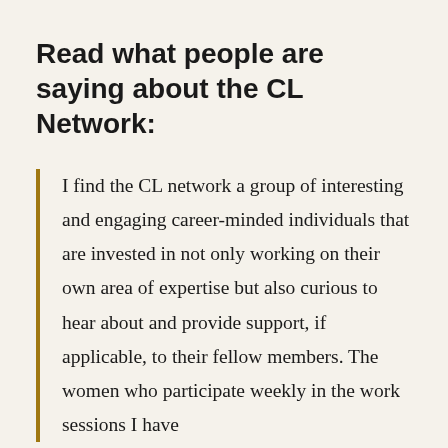Read what people are saying about the CL Network:
I find the CL network a group of interesting and engaging career-minded individuals that are invested in not only working on their own area of expertise but also curious to hear about and provide support, if applicable, to their fellow members. The women who participate weekly in the work sessions I have